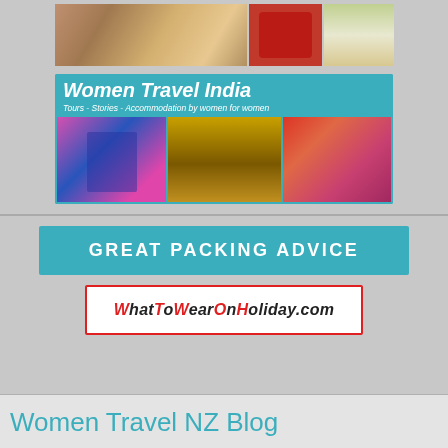[Figure (photo): Top collage of three images: couple, red Maori carving, white sheep]
[Figure (illustration): Women Travel India banner with teal header text 'Women Travel India', subtitle 'Tours - Stories - Accommodation by women for women', and three travel photos of women in traditional Indian dress]
[Figure (other): Teal button reading GREAT PACKING ADVICE]
[Figure (other): WhatToWearOnHoliday.com logo banner with red border]
Women Travel NZ Blog